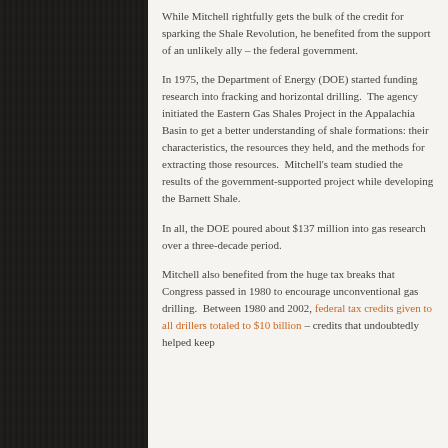While Mitchell rightfully gets the bulk of the credit for sparking the Shale Revolution, he benefited from the support of an unlikely ally – the federal government.
In 1975, the Department of Energy (DOE) started funding research into fracking and horizontal drilling.  The agency initiated the Eastern Gas Shales Project in the Appalachia Basin to get a better understanding of shale formations: their characteristics, the resources they held, and the methods for extracting those resources.  Mitchell's team studied the results of the government-supported project while developing the Barnett Shale.
In all, the DOE poured about $137 million into gas research over a three-decade period.
Mitchell also benefited from the huge tax breaks that Congress passed in 1980 to encourage unconventional gas drilling.  Between 1980 and 2002, federal tax credits given to all drillers totaled to $10 billion – credits that undoubtedly helped keep